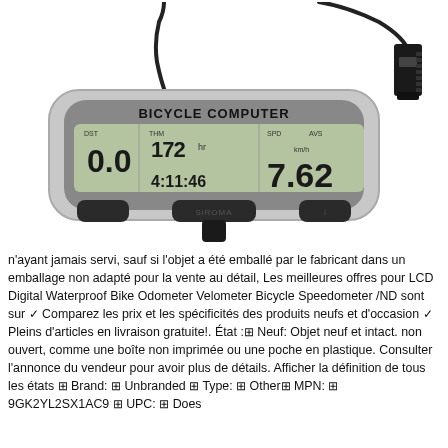[Figure (photo): Photo of a bicycle computer (speedometer/odometer) device labeled 'BICYCLE COMPUTER' with an LCD display showing multiple readings and a cable with connector attached.]
n'ayant jamais servi, sauf si l'objet a été emballé par le fabricant dans un emballage non adapté pour la vente au détail, Les meilleures offres pour LCD Digital Waterproof Bike Odometer Velometer Bicycle Speedometer /ND sont sur ✓ Comparez les prix et les spécificités des produits neufs et d'occasion ✓ Pleins d'articles en livraison gratuite!. État :⊡ Neuf: Objet neuf et intact. non ouvert, comme une boîte non imprimée ou une poche en plastique. Consulter l'annonce du vendeur pour avoir plus de détails. Afficher la définition de tous les états ⊡ Brand: ⊡ Unbranded ⊡ Type: ⊡ Other⊡ MPN: ⊡ 9GK2YL2SX1AC9 ⊡ UPC: ⊡ Does